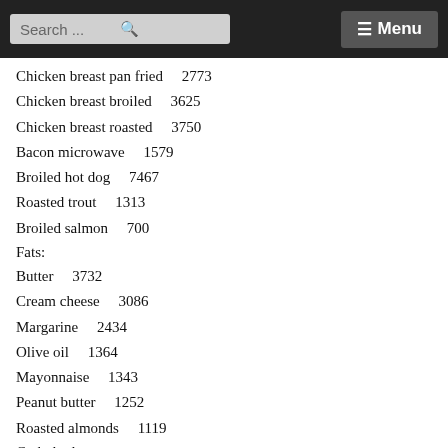Search ... Menu
Chicken breast pan fried    2773
Chicken breast broiled    3625
Chicken breast roasted    3750
Bacon microwave    1579
Broiled hot dog    7467
Roasted trout    1313
Broiled salmon    700
Fats:
Butter    3732
Cream cheese    3086
Margarine    2434
Olive oil    1364
Mayonnaise    1343
Peanut butter    1252
Roasted almonds    1119
Carbohydrates: